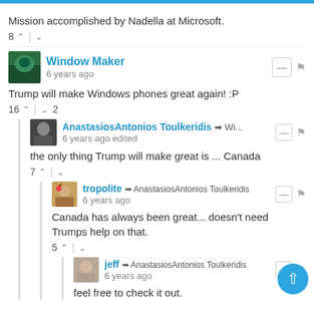Mission accomplished by Nadella at Microsoft.
8 ▲ | ▼
Window Maker · 6 years ago
Trump will make Windows phones great again! :P
16 ▲ | ▼ 2
AnastasiosAntonios Toulkeridis → Wi... · 6 years ago edited
the only thing Trump will make great is ... Canada
7 ▲ | ▼
tropolite → AnastasiosAntonios Toulkeridis · 6 years ago
Canada has always been great... doesn't need Trumps help on that.
5 ▲ | ▼
jeff → AnastasiosAntonios Toulkeridis · 6 years ago
feel free to check it out.